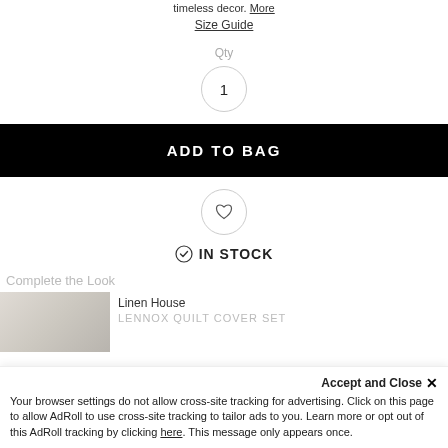timeless decor. More
Size Guide
Qty
1
ADD TO BAG
[Figure (illustration): Wishlist/heart icon inside a circle]
IN STOCK
Complete the Look
[Figure (photo): Product image placeholder for Linen House item]
Linen House
LENNOX QUILT COVER SET
Accept and Close ✕
Your browser settings do not allow cross-site tracking for advertising. Click on this page to allow AdRoll to use cross-site tracking to tailor ads to you. Learn more or opt out of this AdRoll tracking by clicking here. This message only appears once.